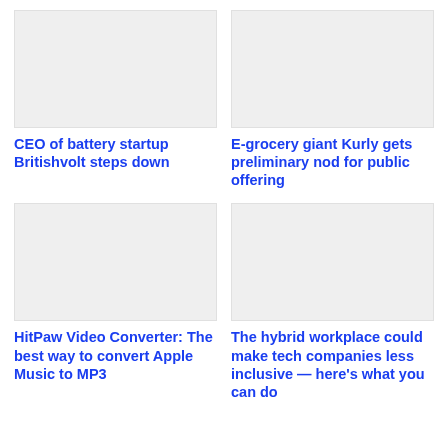[Figure (photo): Image placeholder top left]
[Figure (photo): Image placeholder top right]
CEO of battery startup Britishvolt steps down
E-grocery giant Kurly gets preliminary nod for public offering
[Figure (photo): Image placeholder bottom left]
[Figure (photo): Image placeholder bottom right]
HitPaw Video Converter: The best way to convert Apple Music to MP3
The hybrid workplace could make tech companies less inclusive — here's what you can do